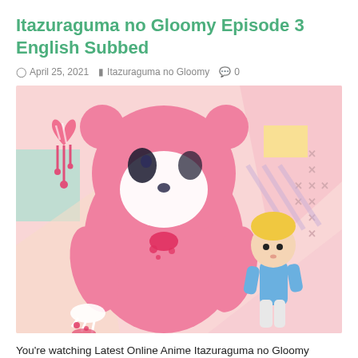Itazuraguma no Gloomy Episode 3 English Subbed
April 25, 2021   Itazuraguma no Gloomy   0
[Figure (illustration): Anime illustration of Gloomy Bear, a large pink bear character with blood splatter marks, standing next to a small blonde child character against a pastel geometric background with hearts and decorative elements.]
You're watching Latest Online Anime Itazuraguma no Gloomy Episode 3 Eng Subbed here which is high quality for free.